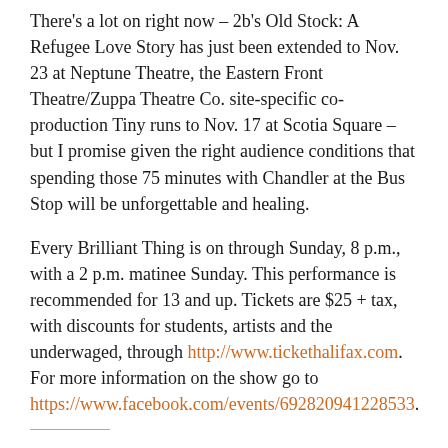There's a lot on right now – 2b's Old Stock: A Refugee Love Story has just been extended to Nov. 23 at Neptune Theatre, the Eastern Front Theatre/Zuppa Theatre Co. site-specific co-production Tiny runs to Nov. 17 at Scotia Square – but I promise given the right audience conditions that spending those 75 minutes with Chandler at the Bus Stop will be unforgettable and healing.
Every Brilliant Thing is on through Sunday, 8 p.m., with a 2 p.m. matinee Sunday. This performance is recommended for 13 and up. Tickets are $25 + tax, with discounts for students, artists and the underwaged, through http://www.tickethalifax.com. For more information on the show go to https://www.facebook.com/events/692820941228533.